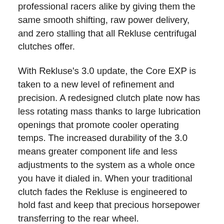professional racers alike by giving them the same smooth shifting, raw power delivery, and zero stalling that all Rekluse centrifugal clutches offer.
With Rekluse's 3.0 update, the Core EXP is taken to a new level of refinement and precision. A redesigned clutch plate now has less rotating mass thanks to large lubrication openings that promote cooler operating temps. The increased durability of the 3.0 means greater component life and less adjustments to the system as a whole once you have it dialed in. When your traditional clutch fades the Rekluse is engineered to hold fast and keep that precious horsepower transferring to the rear wheel.
(partial text visible at bottom)